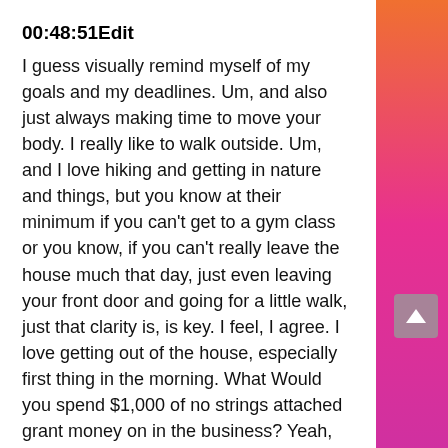00:48:51Edit
I guess visually remind myself of my goals and my deadlines. Um, and also just always making time to move your body. I really like to walk outside. Um, and I love hiking and getting in nature and things, but you know at their minimum if you can't get to a gym class or you know, if you can't really leave the house much that day, just even leaving your front door and going for a little walk, just that clarity is, is key. I feel, I agree. I love getting out of the house, especially first thing in the morning. What Would you spend $1,000 of no strings attached grant money on in the business? Yeah, definitely. Still, I think $1000 is um, $1000 would be always great. It doesn't
[Figure (other): Orange to pink gradient bar on the right side of the page, with a grey scroll-to-top button with an upward arrow chevron]